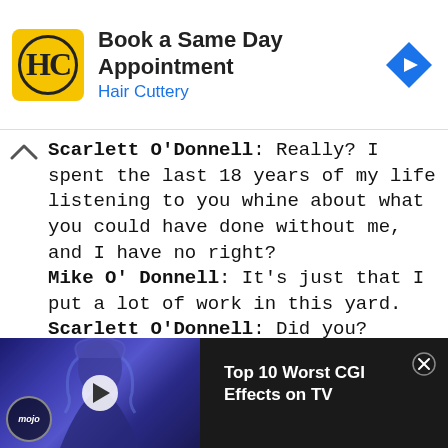[Figure (other): Hair Cuttery advertisement banner with logo, text 'Book a Same Day Appointment / Hair Cuttery', and blue diamond navigation arrow icon]
Scarlett O'Donnell: Really? I spent the last 18 years of my life listening to you whine about what you could have done without me, and I have no right?
Mike O' Donnell: It's just that I put a lot of work in this yard.
Scarlett O'Donnell: Did you? Really?
This website uses cookies
We use cookies to be able to provide social media features, analyse our traffic and behaviour of the visitors on our website and for
[Figure (screenshot): Video overlay bar showing a thumbnail with a woman in blue light/rain with play button and WatchMojo logo, title 'Top 10 Worst CGI Effects on TV' with close X button]